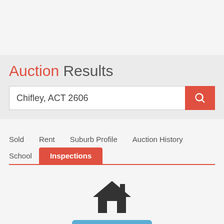Auction Results
Chifley, ACT 2606
Sold
Rent
Suburb Profile
Auction History
School
Inspections
[Figure (illustration): House icon — silhouette of a house in dark grey]
HOUSE